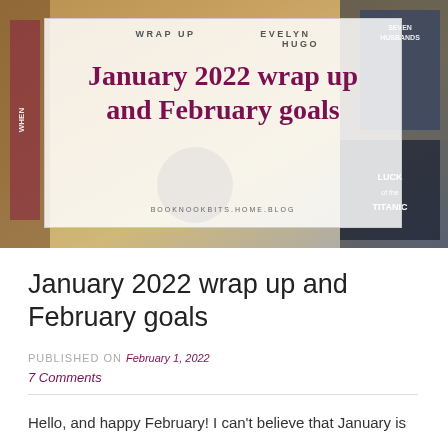[Figure (photo): Blog post banner image showing book covers including Evelyn Hugo and Luck of the Titanic, with a white overlay box containing the post title 'January 2022 wrap up and February goals', subtitle 'WRAP UP', and website URL BOOKNOOKBITS.HOME.BLOG]
January 2022 wrap up and February goals
PUBLISHED ON February 1, 2022
7 Comments
Hello, and happy February! I can't believe that January is